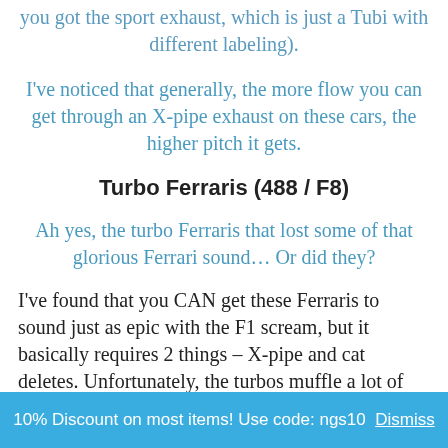you got the sport exhaust, which is just a Tubi with different labeling).
I've noticed that generally, the more flow you can get through an X-pipe exhaust on these cars, the higher pitch it gets.
Turbo Ferraris (488 / F8)
Ah yes, the turbo Ferraris that lost some of that glorious Ferrari sound… Or did they?
I've found that you CAN get these Ferraris to sound just as epic with the F1 scream, but it basically requires 2 things – X-pipe and cat deletes. Unfortunately, the turbos muffle a lot of the natural sound coming from the engine, which makes it hard to produce that traditional F1 sound...
10% Discount on most items! Use code: ngs10  Dismiss